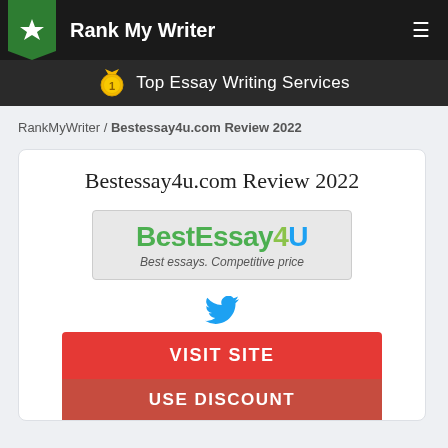Rank My Writer
Top Essay Writing Services
RankMyWriter / Bestessay4u.com Review 2022
Bestessay4u.com Review 2022
[Figure (logo): BestEssay4U logo with tagline: Best essays. Competitive price]
[Figure (logo): Twitter bird icon]
VISIT SITE
USE DISCOUNT